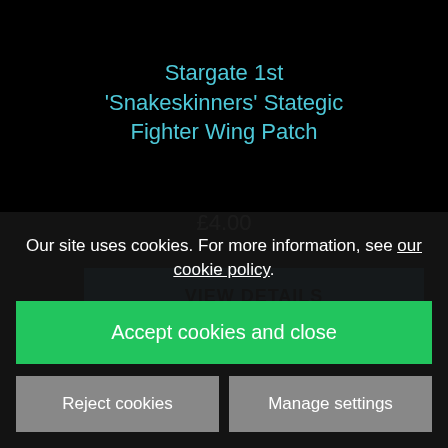Stargate 1st 'Snakeskinners' Stategic Fighter Wing Patch
£4.00
VIEW DETAILS
Our site uses cookies. For more information, see our cookie policy.
Accept cookies and close
Reject cookies
Manage settings